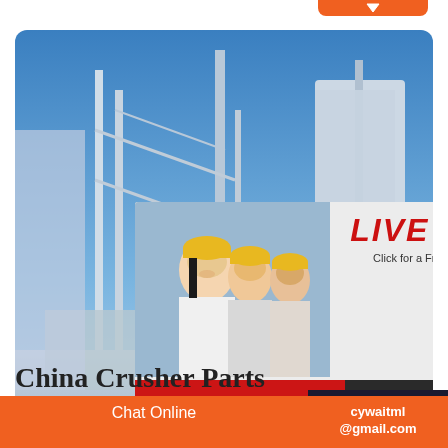[Figure (screenshot): Industrial facility with steel structures and blue sky background, with a live chat popup overlay showing workers in hard hats, 'LIVE CHAT' title in red italic, 'Click for a Free Consultation' subtitle, 'Chat now' red button and 'Chat later' dark button. Right side shows orange sidebar with 'hour online' label, female customer service agent with headset, orange 'Click to chat' button, and dark 'Enquiry' section.]
China Crusher Parts
Chat Online
cywaitml @gmail.com